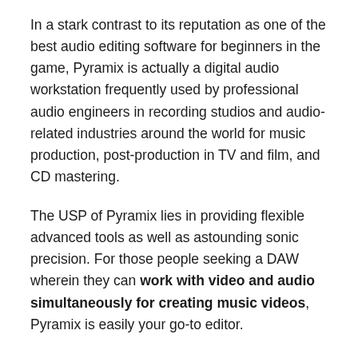In a stark contrast to its reputation as one of the best audio editing software for beginners in the game, Pyramix is actually a digital audio workstation frequently used by professional audio engineers in recording studios and audio-related industries around the world for music production, post-production in TV and film, and CD mastering.
The USP of Pyramix lies in providing flexible advanced tools as well as astounding sonic precision. For those people seeking a DAW wherein they can work with video and audio simultaneously for creating music videos, Pyramix is easily your go-to editor.